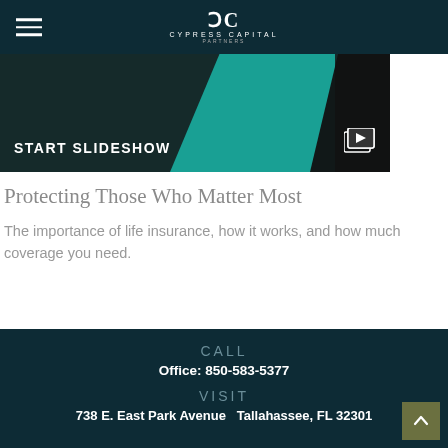Cypress Capital - navigation header with logo
[Figure (screenshot): Slideshow banner with dark teal background, teal geometric shape overlay, and START SLIDESHOW label with video icon]
Protecting Those Who Matter Most
The importance of life insurance, how it works, and how much coverage you need.
CALL Office: 850-583-5377 VISIT 738 E. East Park Avenue  Tallahassee, FL 32301